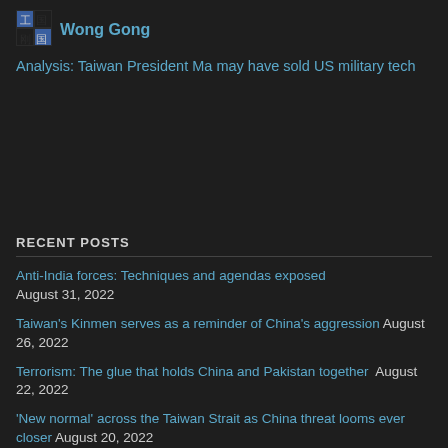[Figure (logo): Small icon with Chinese characters and blue squares representing Wong Gong author avatar]
Wong Gong
Analysis: Taiwan President Ma may have sold US military tech
RECENT POSTS
Anti-India forces: Techniques and agendas exposed August 31, 2022
Taiwan's Kinmen serves as a reminder of China's aggression August 26, 2022
Terrorism: The glue that holds China and Pakistan together  August 22, 2022
'New normal' across the Taiwan Strait as China threat looms ever closer August 20, 2022
When Beijing was burning, Xi was playing personal games  August 15, 2022